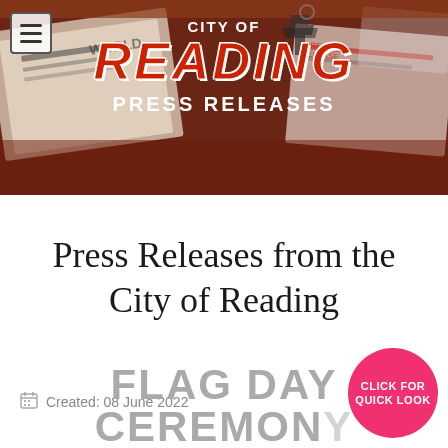[Figure (screenshot): City of Reading Press Releases header banner with dark red/brown background showing newspapers and office items. Contains hamburger menu icon, pagoda graphic, and the text 'CITY OF READING PRESS RELEASES' in white and red.]
Press Releases from the City of Reading
Created: 08 June 2022
FLAG DAY CEREMONY